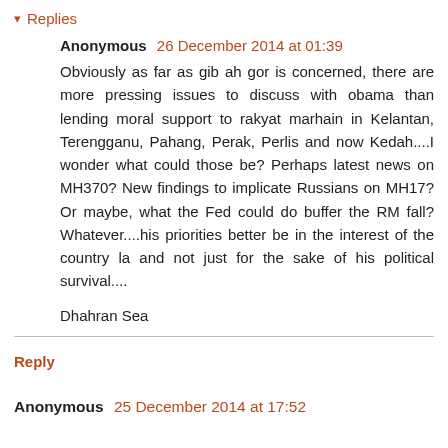▾ Replies
Anonymous 26 December 2014 at 01:39
Obviously as far as gib ah gor is concerned, there are more pressing issues to discuss with obama than lending moral support to rakyat marhain in Kelantan, Terengganu, Pahang, Perak, Perlis and now Kedah....I wonder what could those be? Perhaps latest news on MH370? New findings to implicate Russians on MH17? Or maybe, what the Fed could do buffer the RM fall? Whatever....his priorities better be in the interest of the country la and not just for the sake of his political survival....
Dhahran Sea
Reply
Anonymous 25 December 2014 at 17:52